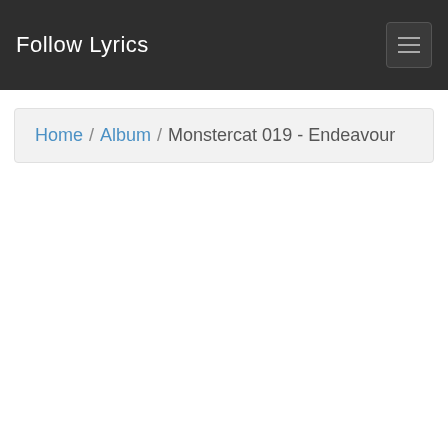Follow Lyrics
Home / Album / Monstercat 019 - Endeavour